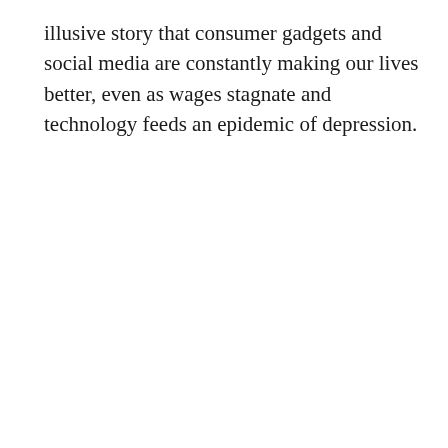illusive story that consumer gadgets and social media are constantly making our lives better, even as wages stagnate and technology feeds an epidemic of depression.